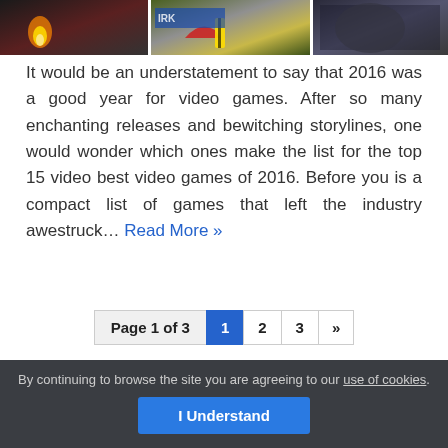[Figure (photo): Three-panel image strip showing video game screenshots: left panel with dark scene and flame/light, center panel with colorful sports/action game with red and yellow elements, right panel with dark fur/character texture.]
It would be an understatement to say that 2016 was a good year for video games. After so many enchanting releases and bewitching storylines, one would wonder which ones make the list for the top 15 video best video games of 2016. Before you is a compact list of games that left the industry awestruck… Read More »
Page 1 of 3  1  2  3  »
By continuing to browse the site you are agreeing to our use of cookies. I Understand